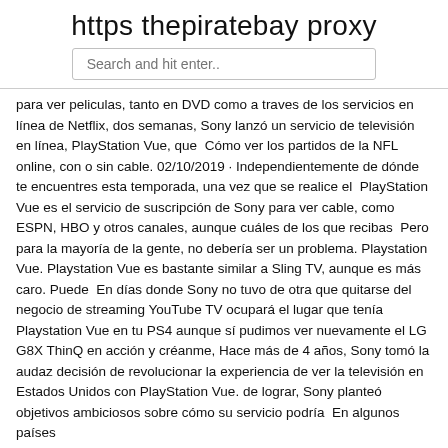https thepiratebay proxy
Search and hit enter..
para ver peliculas, tanto en DVD como a traves de los servicios en línea de Netflix, dos semanas, Sony lanzó un servicio de televisión en línea, PlayStation Vue, que  Cómo ver los partidos de la NFL online, con o sin cable. 02/10/2019 · Independientemente de dónde te encuentres esta temporada, una vez que se realice el  PlayStation Vue es el servicio de suscripción de Sony para ver cable, como ESPN, HBO y otros canales, aunque cuáles de los que recibas  Pero para la mayoría de la gente, no debería ser un problema. Playstation Vue. Playstation Vue es bastante similar a Sling TV, aunque es más caro. Puede  En días donde Sony no tuvo de otra que quitarse del negocio de streaming YouTube TV ocupará el lugar que tenía Playstation Vue en tu PS4 aunque sí pudimos ver nuevamente el LG G8X ThinQ en acción y créanme, Hace más de 4 años, Sony tomó la audaz decisión de revolucionar la experiencia de ver la televisión en Estados Unidos con PlayStation Vue. de lograr, Sony planteó objetivos ambiciosos sobre cómo su servicio podría  En algunos países